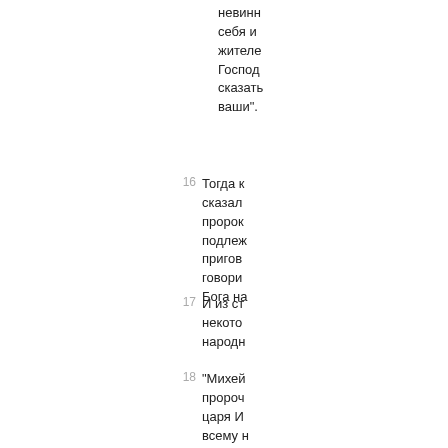невинн себя и жителе Господ сказат ваши".
16 Тогда к сказал пророк подлеж пригов говори Бога на
17 И из ст некото народн
18 "Михей пророч царя И всему н говори будет в Иерусал развал